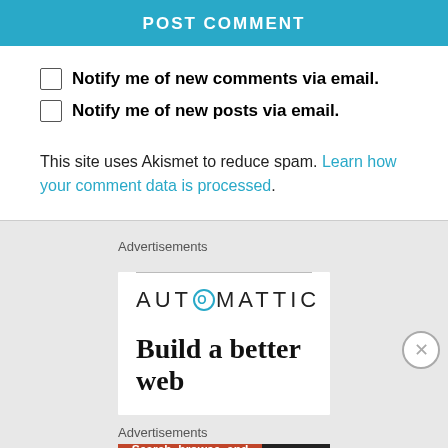POST COMMENT
Notify me of new comments via email.
Notify me of new posts via email.
This site uses Akismet to reduce spam. Learn how your comment data is processed.
Advertisements
[Figure (logo): Automattic logo with circular @ symbol]
Build a better web
Advertisements
[Figure (infographic): DuckDuckGo advertisement: Search, browse, and email with more privacy. All in One Free App]